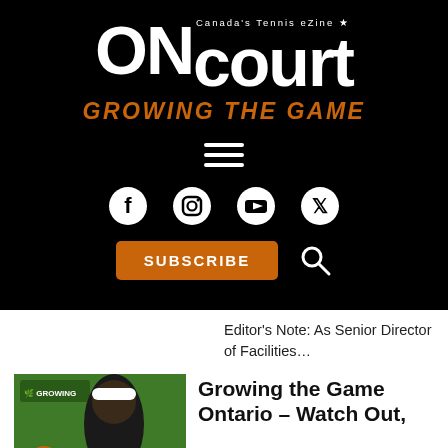[Figure (logo): ONcourt Canada's Tennis eZine logo with white bold text on black background]
GROWING THE GAME
[Figure (infographic): Hamburger menu icon (three horizontal white lines) on black background]
[Figure (infographic): Social media icons: Facebook, Instagram, YouTube, Twitter (white icons on black background)]
[Figure (infographic): SUBSCRIBE orange button and search icon on black background]
Editor's Note: As Senior Director of Facilities…
[Figure (photo): Tennis player wearing OTA Growing the Game branded gear on green background]
Growing the Game Ontario – Watch Out,